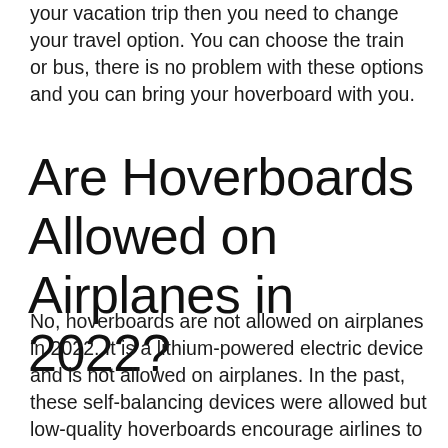your vacation trip then you need to change your travel option. You can choose the train or bus, there is no problem with these options and you can bring your hoverboard with you.
Are Hoverboards Allowed on Airplanes in 2022?
No, hoverboards are not allowed on airplanes in 2022. It is a lithium-powered electric device and is not allowed on airplanes. In the past, these self-balancing devices were allowed but low-quality hoverboards encourage airlines to ban the board. You can ship hoverboards overseas with some